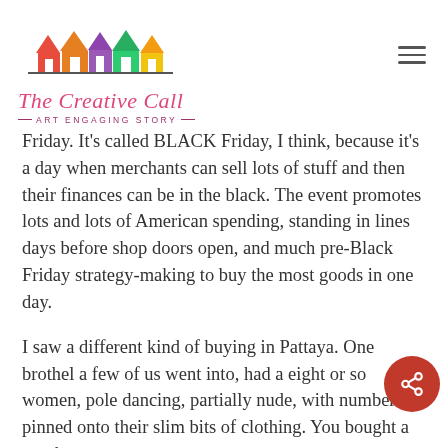[Figure (logo): The Creative Call logo with colorful row houses and cursive text 'The Creative Call — Art Engaging Story —']
Friday. It's called BLACK Friday, I think, because it's a day when merchants can sell lots of stuff and then their finances can be in the black. The event promotes lots and lots of American spending, standing in lines days before shop doors open, and much pre-Black Friday strategy-making to buy the most goods in one day.
I saw a different kind of buying in Pattaya. One brothel a few of us went into, had a eight or so women, pole dancing, partially nude, with numbers pinned onto their slim bits of clothing. You bought a number, not